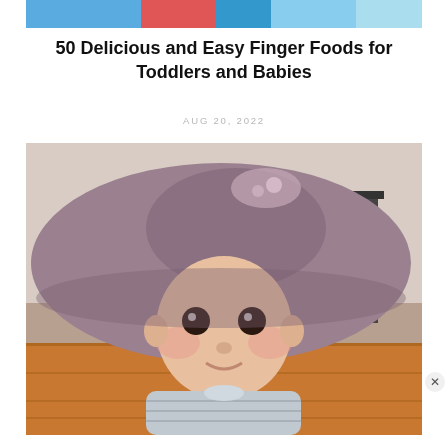[Figure (photo): Top portion of an article header image showing colorful clothing/fabric in blue and teal tones]
50 Delicious and Easy Finger Foods for Toddlers and Babies
AUG 20, 2022
[Figure (photo): A baby wearing a large purple/mauve floppy hat, looking up with big dark eyes, wearing a grey striped outfit, lying on a wooden floor with a chair visible in the background]